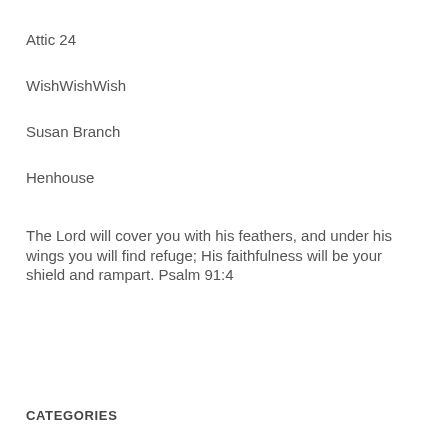Attic 24
WishWishWish
Susan Branch
Henhouse
The Lord will cover you with his feathers, and under his wings you will find refuge; His faithfulness will be your shield and rampart. Psalm 91:4
CATEGORIES